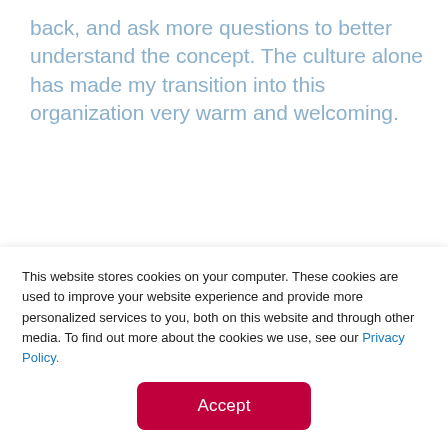back, and ask more questions to better understand the concept. The culture alone has made my transition into this organization very warm and welcoming.
Looking back at your academic career what did you learn that impacted you the most?
This website stores cookies on your computer. These cookies are used to improve your website experience and provide more personalized services to you, both on this website and through other media. To find out more about the cookies we use, see our Privacy Policy.
Accept